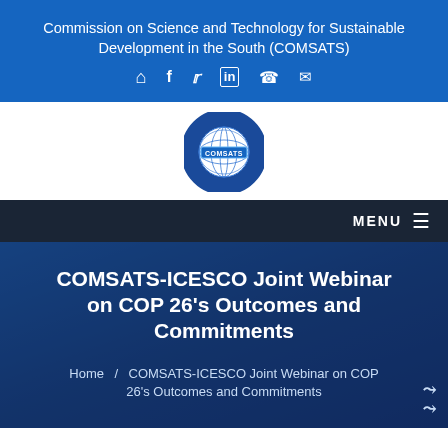Commission on Science and Technology for Sustainable Development in the South (COMSATS)
[Figure (logo): COMSATS circular logo with globe and COMSATS text banner]
COMSATS-ICESCO Joint Webinar on COP 26's Outcomes and Commitments
Home / COMSATS-ICESCO Joint Webinar on COP 26's Outcomes and Commitments